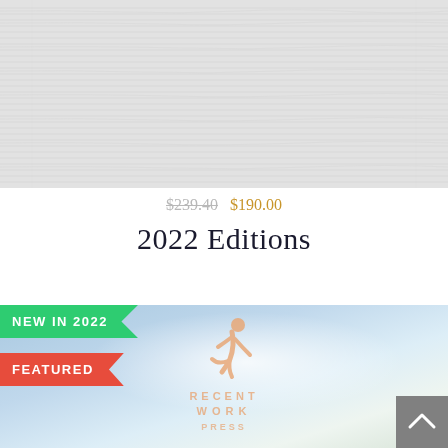[Figure (photo): Top portion showing a light gray woven fabric texture filling the upper area of the page]
$239.40  $190.00
2022 Editions
[Figure (photo): Book cover image with light blue gradient sky background and an orange/tan illustrated figure (person in action pose) above the text RECENT WORK PRESS with NEW IN 2022 and FEATURED badge labels overlaid on the left side]
NEW IN 2022
FEATURED